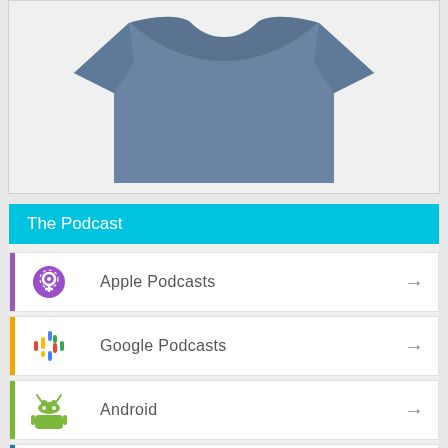[Figure (photo): Partial view of a blue-grey folded t-shirt on a white/light background]
The Podcast
Apple Podcasts
Google Podcasts
Android
by Email
RSS